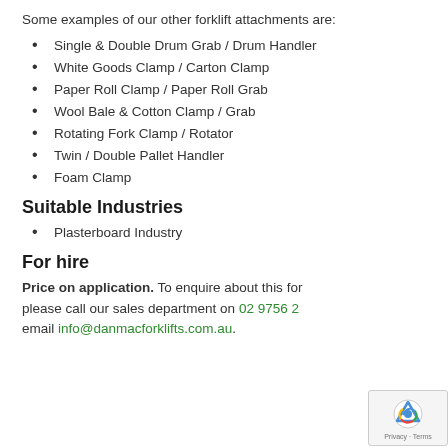Some examples of our other forklift attachments are:
Single & Double Drum Grab / Drum Handler
White Goods Clamp / Carton Clamp
Paper Roll Clamp / Paper Roll Grab
Wool Bale & Cotton Clamp / Grab
Rotating Fork Clamp / Rotator
Twin / Double Pallet Handler
Foam Clamp
Suitable Industries
Plasterboard Industry
For hire
Price on application. To enquire about this for please call our sales department on 02 9756 2 email info@danmacforklifts.com.au.